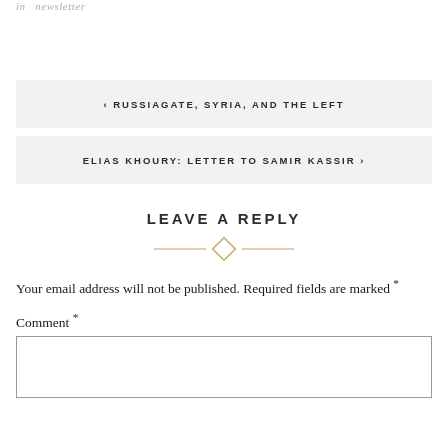in  newsletter
‹ RUSSIAGATE, SYRIA, AND THE LEFT
ELIAS KHOURY: LETTER TO SAMIR KASSIR ›
LEAVE A REPLY
Your email address will not be published. Required fields are marked *
Comment *